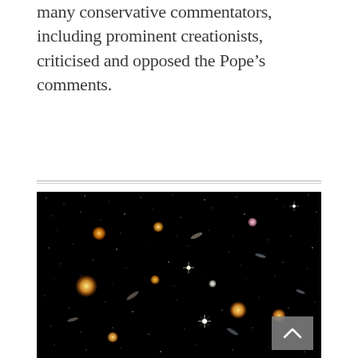many conservative commentators, including prominent creationists, criticised and opposed the Pope's comments.
[Figure (photo): Deep space photograph showing numerous galaxies and stars against a black background, resembling the Hubble Deep Field image. Various orange, white, and multicolored galaxies are scattered throughout. A gray scroll-up button is visible in the bottom-right corner.]